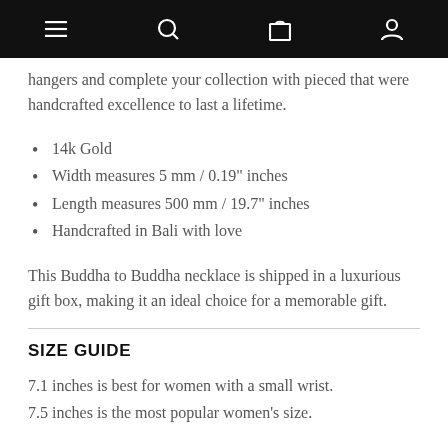Navigation bar with menu, search, cart, and account icons
hangers and complete your collection with pieced that were handcrafted excellence to last a lifetime.
14k Gold
Width measures 5 mm / 0.19" inches
Length measures 500 mm / 19.7" inches
Handcrafted in Bali with love
This Buddha to Buddha necklace is shipped in a luxurious gift box, making it an ideal choice for a memorable gift.
SIZE GUIDE
7.1 inches is best for women with a small wrist.
7.5 inches is the most popular women's size.